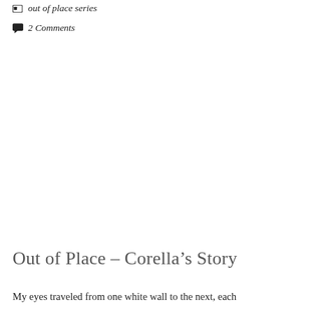out of place series
2 Comments
Out of Place – Corella's Story
My eyes traveled from one white wall to the next, each